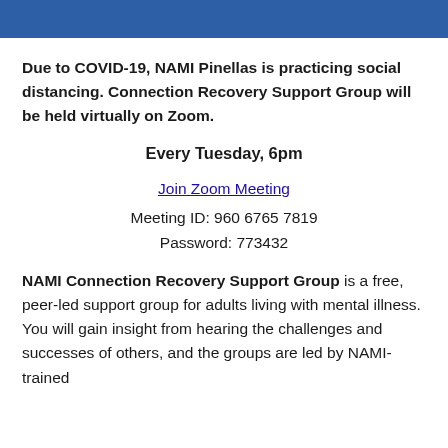[Figure (other): Blue header bar with NAMI logo/branding at the top of the page]
Due to COVID-19, NAMI Pinellas is practicing social distancing.  Connection Recovery Support Group will be held virtually on Zoom.
Every Tuesday, 6pm
Join Zoom Meeting
Meeting ID: 960 6765 7819
Password: 773432
NAMI Connection Recovery Support Group is a free, peer-led support group for adults living with mental illness. You will gain insight from hearing the challenges and successes of others, and the groups are led by NAMI-trained